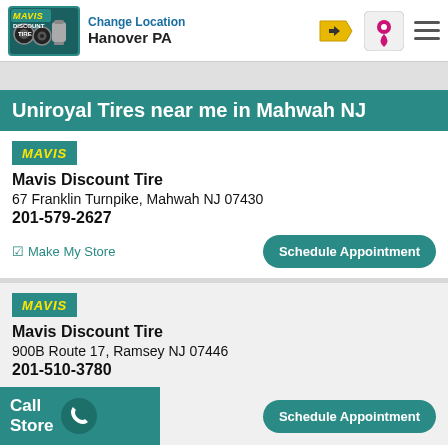Change Location / Hanover PA
Uniroyal Tires near me in Mahwah NJ
Mavis Discount Tire
67 Franklin Turnpike, Mahwah NJ 07430
201-579-2627
Make My Store
Schedule Appointment
Mavis Discount Tire
900B Route 17, Ramsey NJ 07446
201-510-3780
Schedule Appointment
Call Store